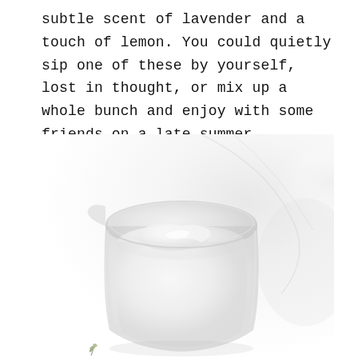subtle scent of lavender and a touch of lemon. You could quietly sip one of these by yourself, lost in thought, or mix up a whole bunch and enjoy with some friends on a late summer afternoon.
[Figure (photo): Top-down view of a clear glass pitcher or mixing glass filled with ice and a pale white/milky liquid, set on a white marble surface. A small sprig of herb (possibly thyme or lavender) is visible at the bottom edge of the image.]